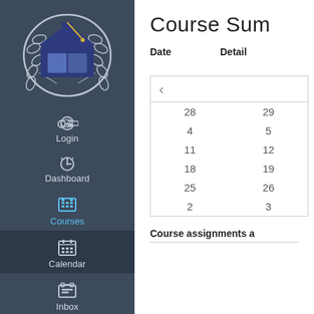[Figure (logo): Academic graduation cap logo with laurel wreath, navy blue and white]
Login
Dashboard
Courses
Calendar
Inbox
Course Sum
| Date | Detail |
| --- | --- |
| 28 | 29 |
| 4 | 5 |
| 11 | 12 |
| 18 | 19 |
| 25 | 26 |
| 2 | 3 |
Course assignments a